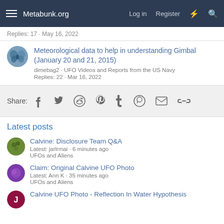Metabunk.org  Log in  Register
Replies: 17 · May 16, 2022
Meteorological data to help in understanding Gimbal (January 20 and 21, 2015)
dimebag2 · UFO Videos and Reports from the US Navy
Replies: 22 · Mar 16, 2022
Share:
Latest posts
Calvine: Disclosure Team Q&A
Latest: jarlrmai · 6 minutes ago
UFOs and Aliens
Claim: Original Calvine UFO Photo
Latest: Ann K · 35 minutes ago
UFOs and Aliens
Calvine UFO Photo - Reflection In Water Hypothesis